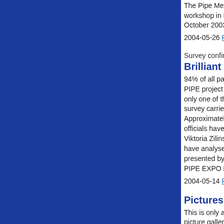The Pipe Methodology guidelines, based on inputs from workshop in November 2002 and from the Notodden (T October 2003, is being finalized.
2004-05-26 Read more...
Survey confirms outstanding positive respons
Brilliant results from the PIPE project
94% of all participants wants to continue the PIPE project in some way or another. This is only one of the feedback results from the survey carried out by sociologists in Vilnius. Approximately 200 students, teachers and officials have responded to the questionnaire. Viktoria Zilinskaite and Eugenija Krukauskiene have analysed the results. Their report was presented by Viktorija Zilinskaite at the methodological PIPE EXPO in Ulricehamn last week.
2004-05-14 Read more...
Pictures from the EXPO
This is only a preliminary small part of the upcoming picture gallery which will contain a huge amount of picture and videos. After some days all will be published. http://qrm.pri.ee/toalf/
2004-05-12 Read more